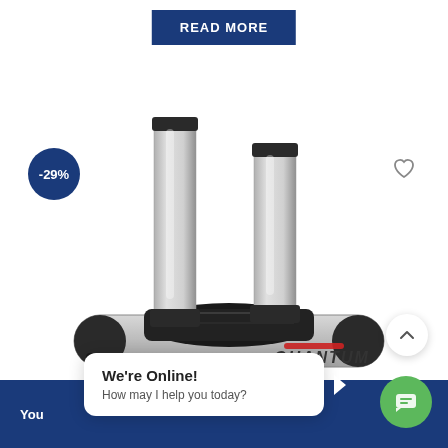READ MORE
[Figure (photo): A silver and black Quantum brand scanner or measurement device with two vertical columns and a horizontal base unit, shown on white background with -29% discount badge and heart/wishlist icon]
-29%
We're Online! How may I help you today?
You
Your [truncated footer text]